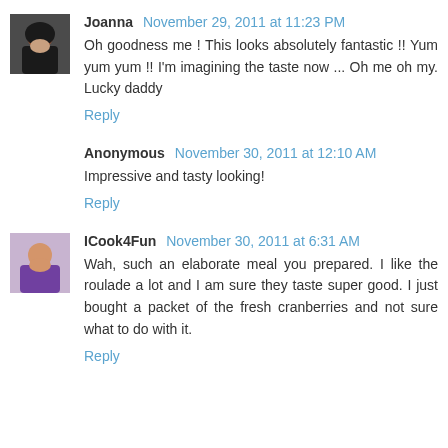[Figure (photo): Avatar photo of Joanna, a woman with dark curly hair]
Joanna November 29, 2011 at 11:23 PM
Oh goodness me ! This looks absolutely fantastic !! Yum yum yum !! I'm imagining the taste now ... Oh me oh my. Lucky daddy
Reply
Anonymous November 30, 2011 at 12:10 AM
Impressive and tasty looking!
Reply
[Figure (photo): Avatar photo of ICook4Fun, a person in purple top]
ICook4Fun November 30, 2011 at 6:31 AM
Wah, such an elaborate meal you prepared. I like the roulade a lot and I am sure they taste super good. I just bought a packet of the fresh cranberries and not sure what to do with it.
Reply